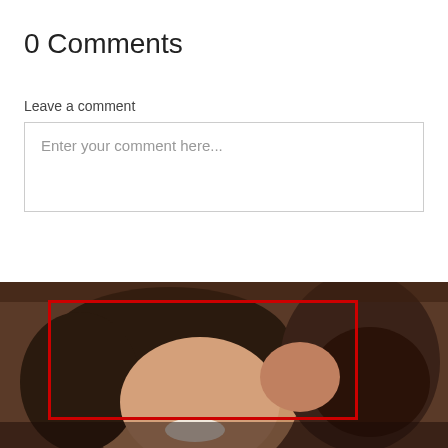0 Comments
Leave a comment
Enter your comment here...
[Figure (photo): A woman with curly hair smiling while a child kisses her cheek. A red rectangle is overlaid on the upper-center portion of the image.]